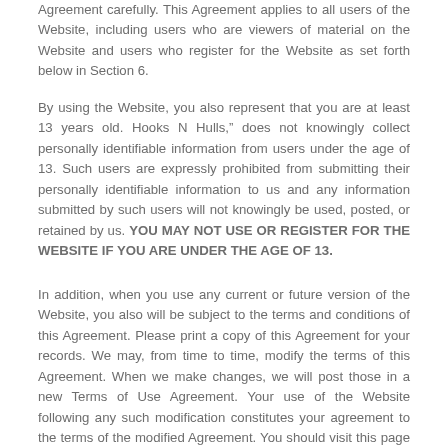Agreement carefully. This Agreement applies to all users of the Website, including users who are viewers of material on the Website and users who register for the Website as set forth below in Section 6.
By using the Website, you also represent that you are at least 13 years old. Hooks N Hulls," does not knowingly collect personally identifiable information from users under the age of 13. Such users are expressly prohibited from submitting their personally identifiable information to us and any information submitted by such users will not knowingly be used, posted, or retained by us. YOU MAY NOT USE OR REGISTER FOR THE WEBSITE IF YOU ARE UNDER THE AGE OF 13.
In addition, when you use any current or future version of the Website, you also will be subject to the terms and conditions of this Agreement. Please print a copy of this Agreement for your records. We may, from time to time, modify the terms of this Agreement. When we make changes, we will post those in a new Terms of Use Agreement. Your use of the Website following any such modification constitutes your agreement to the terms of the modified Agreement. You should visit this page periodically to learn of any changes to this Agreement.